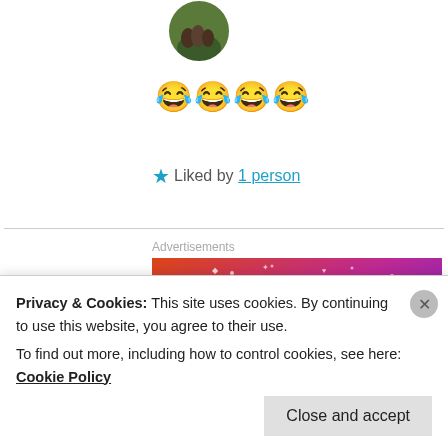[Figure (photo): Circular avatar photo showing hands outdoors with greenery]
😂😂😂😂
★ Liked by 1 person
[Figure (illustration): Fandom advertisement banner with colorful gradient background, sailboat, skull, decorative icons, and FANDOM text]
Advertisements
Privacy & Cookies: This site uses cookies. By continuing to use this website, you agree to their use.
To find out more, including how to control cookies, see here: Cookie Policy
Close and accept